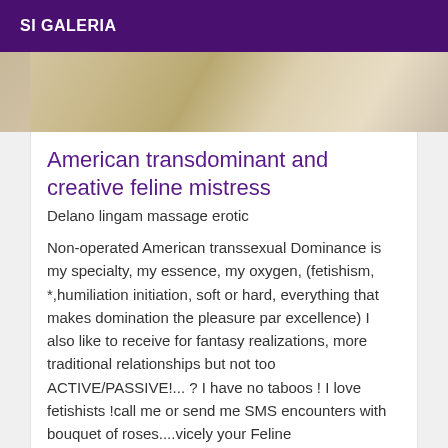SI GALERIA
[Figure (photo): Close-up photo of wooden ceiling beams or panels, light wood color]
American transdominant and creative feline mistress
Delano lingam massage erotic
Non-operated American transsexual Dominance is my specialty, my essence, my oxygen, (fetishism, *,humiliation initiation, soft or hard, everything that makes domination the pleasure par excellence) I also like to receive for fantasy realizations, more traditional relationships but not too ACTIVE/PASSIVE!... ? I have no taboos ! I love fetishists !call me or send me SMS encounters with bouquet of roses....vicely your Feline
Online